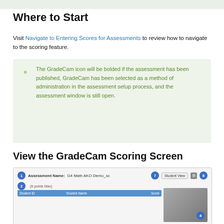Where to Start
Visit Navigate to Entering Scores for Assessments to review how to navigate to the scoring feature.
The GradeCam icon will be bolded if the assessment has been published, GradeCam has been selected as a method of administration in the assessment setup process, and the assessment window is still open.
View the GradeCam Scoring Screen
[Figure (screenshot): Screenshot of GradeCam scoring screen showing Assessment Name: G4 Math AKO Demo_sc, (8 points Max), with numbered callout badges 1, 2, 7, 8, 4, a Student View button, and a table header with Student ID, Student Name, Score columns]